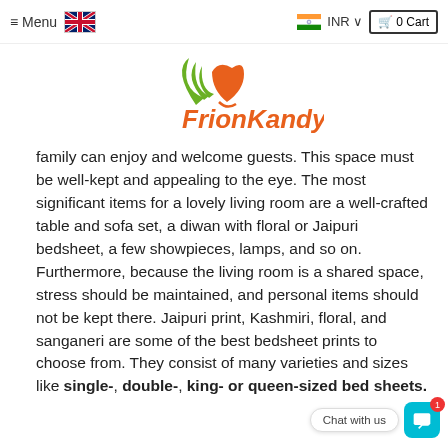Menu | [UK flag] | [India flag] INR ∨ | 🛒 0 Cart
[Figure (logo): FrionKandy logo with green leaf and orange heart shape, with orange text 'FrionKandy']
family can enjoy and welcome guests. This space must be well-kept and appealing to the eye. The most significant items for a lovely living room are a well-crafted table and sofa set, a diwan with floral or Jaipuri bedsheet, a few showpieces, lamps, and so on. Furthermore, because the living room is a shared space, stress should be maintained, and personal items should not be kept there. Jaipuri print, Kashmiri, floral, and sanganeri are some of the best bedsheet prints to choose from. They consist of many varieties and sizes like single-, double-, king- or queen-sized bed sheets.